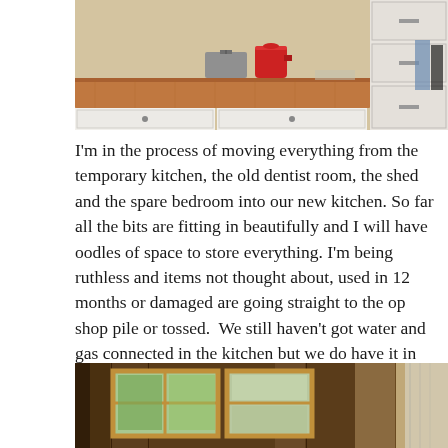[Figure (photo): Kitchen countertop photo showing white cabinets with a wooden butcher block counter, a red kettle, a silver toaster, and drawers on the right side.]
I'm in the process of moving everything from the temporary kitchen, the old dentist room, the shed and the spare bedroom into our new kitchen. So far all the bits are fitting in beautifully and I will have oodles of space to store everything. I'm being ruthless and items not thought about, used in 12 months or damaged are going straight to the op shop pile or tossed.  We still haven't got water and gas connected in the kitchen but we do have it in the laundry so we have been able to clear the plastic table and babies bath out from the bathroom and can wash dishes in the laundry. This has been the greatest challenge I've faced with this whole experience. I really didn't like having a loo in the dishwashing area!
[Figure (photo): Interior room photo showing a window with curtains and wooden paneled walls, appearing to be a shed or old room.]